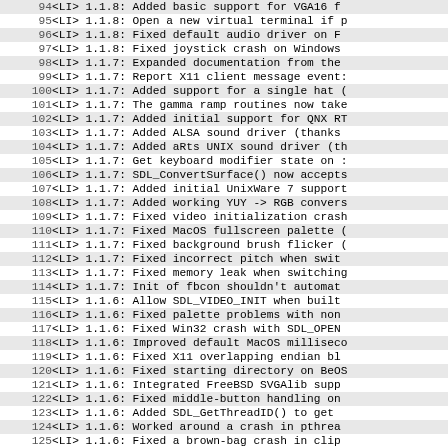94    <LI> 1.1.8: Added basic support for VGA16 f
95    <LI> 1.1.8: Open a new virtual terminal if p
96    <LI> 1.1.8: Fixed default audio driver on F
97    <LI> 1.1.8: Fixed joystick crash on Windows
98    <LI> 1.1.7: Expanded documentation from the
99    <LI> 1.1.7: Report X11 client message event:
100   <LI> 1.1.7: Added support for a single hat (
101   <LI> 1.1.7: The gamma ramp routines now take
102   <LI> 1.1.7: Added initial support for QNX RT
103   <LI> 1.1.7: Added ALSA sound driver (thanks
104   <LI> 1.1.7: Added aRts UNIX sound driver (th
105   <LI> 1.1.7: Get keyboard modifier state on :
106   <LI> 1.1.7: SDL_ConvertSurface() now accepts
107   <LI> 1.1.7: Added initial UnixWare 7 support
108   <LI> 1.1.7: Added working YUY -> RGB convers
109   <LI> 1.1.7: Fixed video initialization crash
110   <LI> 1.1.7: Fixed MacOS fullscreen palette (
111   <LI> 1.1.7: Fixed background brush flicker (
112   <LI> 1.1.7: Fixed incorrect pitch when swit
113   <LI> 1.1.7: Fixed memory leak when switching
114   <LI> 1.1.7: Init of fbcon shouldn't automat
115   <LI> 1.1.6: Allow SDL_VIDEO_INIT when built
116   <LI> 1.1.6: Fixed palette problems with non
117   <LI> 1.1.6: Fixed Win32 crash with SDL_OPEN
118   <LI> 1.1.6: Improved default MacOS milliseco
119   <LI> 1.1.6: Fixed X11 overlapping endian bl
120   <LI> 1.1.6: Fixed starting directory on BeOS
121   <LI> 1.1.6: Integrated FreeBSD SVGAlib supp
122   <LI> 1.1.6: Fixed middle-button handling on
123   <LI> 1.1.6: Added SDL_GetThreadID() to get
124   <LI> 1.1.6: Worked around a crash in pthrea
125   <LI> 1.1.6: Fixed a brown-bag crash in clip